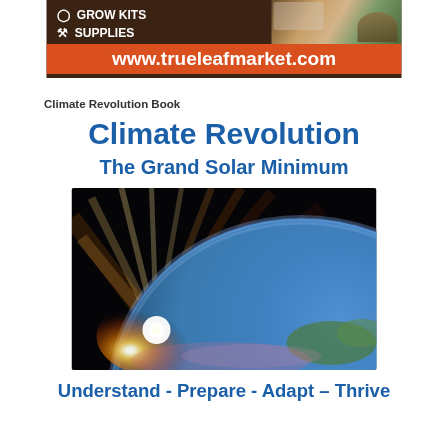[Figure (advertisement): True Leaf Market advertisement banner showing grow kits and supplies with www.trueleafmarket.com URL on orange bar, brown background with gardening photo]
Climate Revolution Book
Climate Revolution
The Grand Solar Minimum
[Figure (photo): Space view of Earth from orbit with dramatic solar flare/sunrise visible along the horizon, deep black space background with orange and red light rays]
Understand - Prepare - Adapt – Thrive